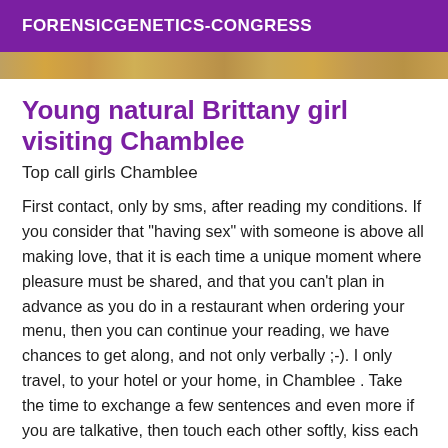FORENSICGENETICS-CONGRESS
[Figure (photo): A colorful decorative image strip showing warm tones of orange, gold, and brown]
Young natural Brittany girl visiting Chamblee
Top call girls Chamblee
First contact, only by sms, after reading my conditions. If you consider that "having sex" with someone is above all making love, that it is each time a unique moment where pleasure must be shared, and that you can't plan in advance as you do in a restaurant when ordering your menu, then you can continue your reading, we have chances to get along, and not only verbally ;-). I only travel, to your hotel or your home, in Chamblee . Take the time to exchange a few sentences and even more if you are talkative, then touch each other softly, kiss each other to gradually find the stings of the other's pleasure. Listen to your senses and let yourself be gently and voluptuously led by desire. That's how I see it.